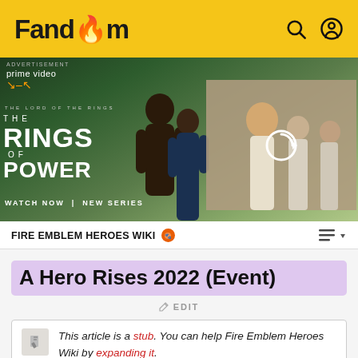Fandom
[Figure (photo): Amazon Prime Video advertisement for The Lord of the Rings: The Rings of Power. Shows two characters in a fantasy landscape with text 'THE LORD OF THE RINGS THE RINGS OF POWER WATCH NOW | NEW SERIES' and a refresh/loading overlay on the right side.]
FIRE EMBLEM HEROES WIKI
A Hero Rises 2022 (Event)
EDIT
This article is a stub. You can help Fire Emblem Heroes Wiki by expanding it.